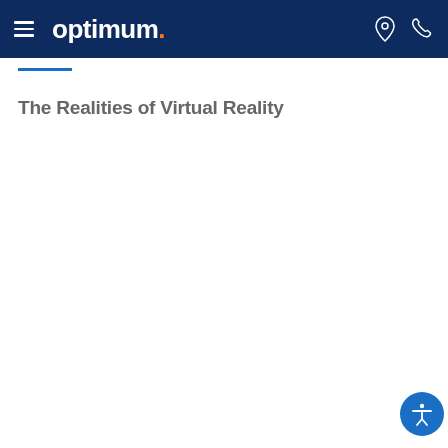optimum. [navigation bar with hamburger menu, location icon, phone icon]
The Realities of Virtual Reality